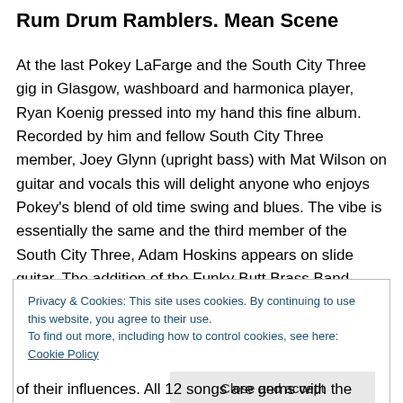Rum Drum Ramblers. Mean Scene
At the last Pokey LaFarge and the South City Three gig in Glasgow, washboard and harmonica player, Ryan Koenig pressed into my hand this fine album. Recorded by him and fellow South City Three member, Joey Glynn (upright bass) with Mat Wilson on guitar and vocals this will delight anyone who enjoys Pokey’s blend of old time swing and blues. The vibe is essentially the same and the third member of the South City Three, Adam Hoskins appears on slide guitar. The addition of the Funky Butt Brass Band
Privacy & Cookies: This site uses cookies. By continuing to use this website, you agree to their use.
To find out more, including how to control cookies, see here: Cookie Policy
[Close and accept]
of their influences. All 12 songs are gems with the